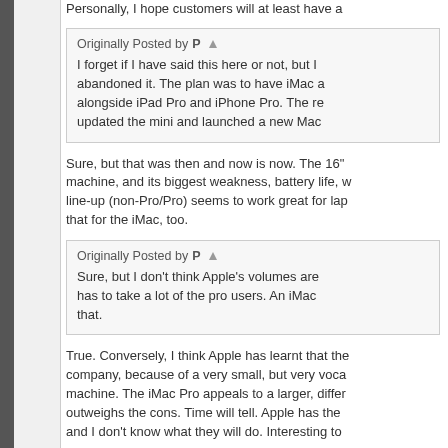Personally, I hope customers will at least have a
Originally Posted by P
I forget if I have said this here or not, but I abandoned it. The plan was to have iMac alongside iPad Pro and iPhone Pro. The re updated the mini and launched a new Mac
Sure, but that was then and now is now. The 16" machine, and its biggest weakness, battery life, w line-up (non-Pro/Pro) seems to work great for lap that for the iMac, too.
Originally Posted by P
Sure, but I don't think Apple's volumes are has to take a lot of the pro users. An iMac that.
True. Conversely, I think Apple has learnt that the company, because of a very small, but very voca machine. The iMac Pro appeals to a larger, differ outweighs the cons. Time will tell. Apple has the and I don't know what they will do. Interesting to